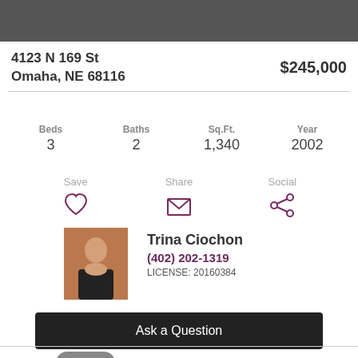4123 N 169 St
Omaha, NE 68116
$245,000
| Beds | Baths | Sq.Ft. | Year |
| --- | --- | --- | --- |
| 3 | 2 | 1,340 | 2002 |
Save   Share   Social
[Figure (photo): Photo of agent Trina Ciochon, woman in dark clothing seated]
Trina Ciochon
(402) 202-1319
LICENSE: 20160384
Ask a Question
Status: Sold